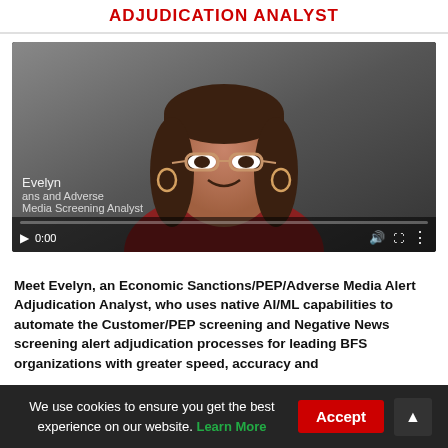ADJUDICATION ANALYST
[Figure (screenshot): Video screenshot showing a woman named Evelyn (Sanctions and Adverse Media Screening Analyst) at 0:00 with video playback controls visible at the bottom.]
Meet Evelyn, an Economic Sanctions/PEP/Adverse Media Alert Adjudication Analyst, who uses native AI/ML capabilities to automate the Customer/PEP screening and Negative News screening alert adjudication processes for leading BFS organizations with greater speed, accuracy and
We use cookies to ensure you get the best experience on our website. Learn More  Accept